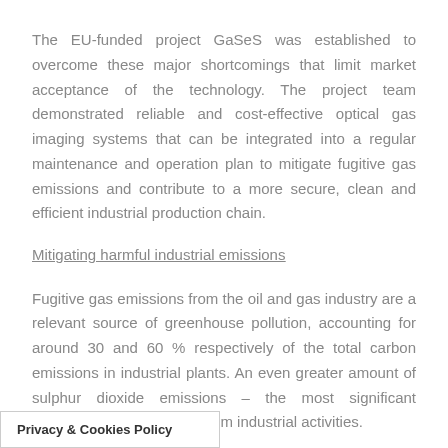The EU-funded project GaSeS was established to overcome these major shortcomings that limit market acceptance of the technology. The project team demonstrated reliable and cost-effective optical gas imaging systems that can be integrated into a regular maintenance and operation plan to mitigate fugitive gas emissions and contribute to a more secure, clean and efficient industrial production chain.
Mitigating harmful industrial emissions
Fugitive gas emissions from the oil and gas industry are a relevant source of greenhouse pollution, accounting for around 30 and 60 % respectively of the total carbon emissions in industrial plants. An even greater amount of sulphur dioxide emissions – the most significant acidifying [agent] from industrial activities.
Privacy & Cookies Policy